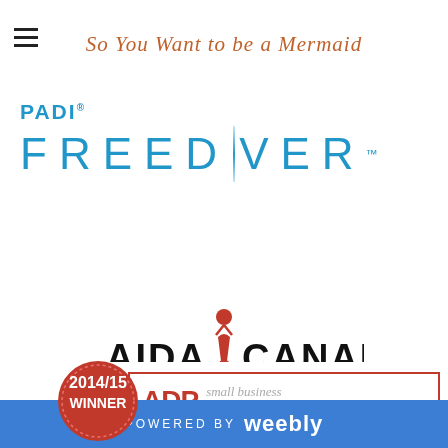So You Want to be a Mermaid
[Figure (logo): PADI Freediver logo with blue text and vertical line divider]
[Figure (logo): AIDA Canada logo with red figure and www.aidacanada.org]
[Figure (logo): ADP Small Business Grant Contest 2014/15 Winner badge and banner]
POWERED BY weebly